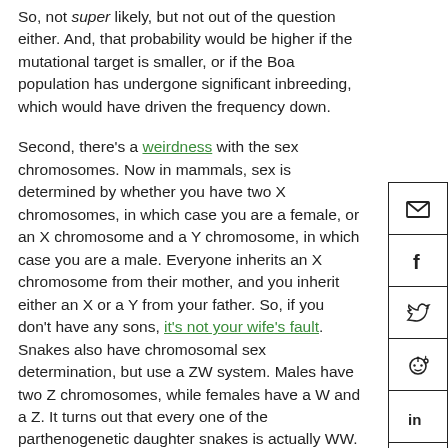So, not super likely, but not out of the question either. And, that probability would be higher if the mutational target is smaller, or if the Boa population has undergone significant inbreeding, which would have driven the frequency down.
Second, there's a weirdness with the sex chromosomes. Now in mammals, sex is determined by whether you have two X chromosomes, in which case you are a female, or an X chromosome and a Y chromosome, in which case you are a male. Everyone inherits an X chromosome from their mother, and you inherit either an X or a Y from your father. So, if you don't have any sons, it's not your wife's fault. Snakes also have chromosomal sex determination, but use a ZW system. Males have two Z chromosomes, while females have a W and a Z. It turns out that every one of the parthenogenetic daughter snakes is actually WW. That's some serious weirdness on which I have little insight. The one thing we can say is that you would never see a YY male. The Y chromosome is a shriveled little thing that does not do much other than tell you to be